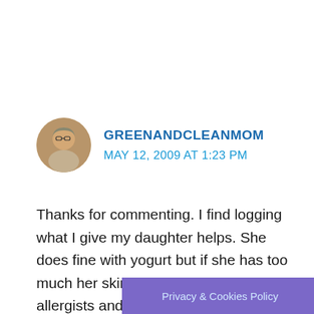[Figure (photo): Circular avatar photo of a woman with glasses]
GREENANDCLEANMOM
MAY 12, 2009 AT 1:23 PM
Thanks for commenting. I find logging what I give my daughter helps. She does fine with yogurt but if she has too much her skin is a mess. I think allergists and MD's mean well but just b/c a study comes out doesn't mean something is safe. We need to know more, do... arch add b d t...
Privacy & Cookies Policy